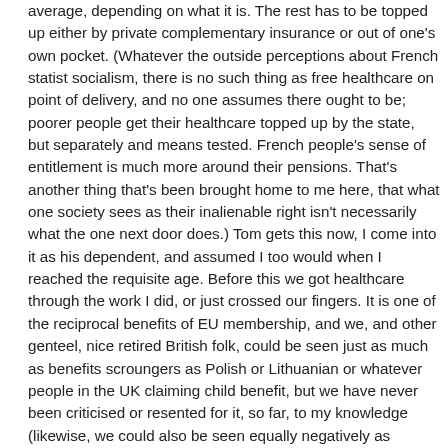average, depending on what it is. The rest has to be topped up either by private complementary insurance or out of one's own pocket. (Whatever the outside perceptions about French statist socialism, there is no such thing as free healthcare on point of delivery, and no one assumes there ought to be; poorer people get their healthcare topped up by the state, but separately and means tested. French people's sense of entitlement is much more around their pensions. That's another thing that's been brought home to me here, that what one society sees as their inalienable right isn't necessarily what the one next door does.) Tom gets this now, I come into it as his dependent, and assumed I too would when I reached the requisite age. Before this we got healthcare through the work I did, or just crossed our fingers. It is one of the reciprocal benefits of EU membership, and we, and other genteel, nice retired British folk, could be seen just as much as benefits scroungers as Polish or Lithuanian or whatever people in the UK claiming child benefit, but we have never been criticised or resented for it, so far, to my knowledge (likewise, we could also be seen equally negatively as economic migrants; we didn't have to come here, we weren't driven out, we chose to because we could,